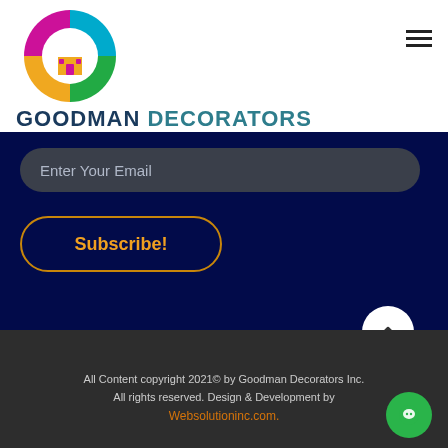[Figure (logo): Goodman Decorators circular logo with colorful house icon — blue, pink, green, orange segments with white house silhouette]
GOODMAN DECORATORS
Enter Your Email
Subscribe!
All Content copyright 2021© by Goodman Decorators Inc. All rights reserved. Design & Development by Websolutioninc.com.